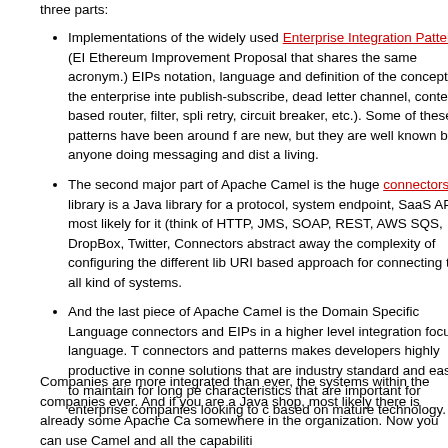three parts:
Implementations of the widely used Enterprise Integration Patterns (EI... Ethereum Improvement Proposal that shares the same acronym.) EIPs notation, language and definition of the concepts in the enterprise inte... publish-subscribe, dead letter channel, content-based router, filter, spli... retry, circuit breaker, etc.). Some of these patterns have been around f... are new, but they are well known by anyone doing messaging and dist... a living.
The second major part of Apache Camel is the huge connectors library is a Java library for a protocol, system endpoint, SaaS API, most likely for it (think of HTTP, JMS, SOAP, REST, AWS SQS, DropBox, Twitter,... Connectors abstract away the complexity of configuring the different lib... URI based approach for connecting to all kind of systems.
And the last piece of Apache Camel is the Domain Specific Language connectors and EIPs in a higher level integration focused language. Th... connectors and patterns makes developers highly productive in conne... solutions that are industry standard and easier to maintain for long pe... characteristics that are important for enterprise companies looking to c... based on mature technology.
Companies are more integrated than ever, the systems within the companies... ever. And if you are a Java shop, most likely there is already some Apache Ca... somewhere in the organization. Now you can use Camel and all the capabiliti...